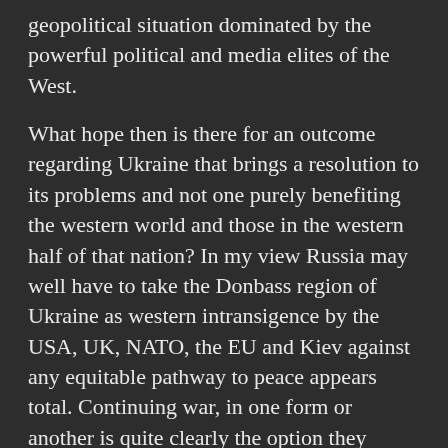geopolitical situation dominated by the powerful political and media elites of the West.
What hope then is there for an outcome regarding Ukraine that brings a resolution to its problems and not one purely benefiting the western world and those in the western half of that nation? In my view Russia may well have to take the Donbass region of Ukraine as western intransigence by the USA, UK, NATO, the EU and Kiev against any equitable pathway to peace appears total. Continuing war, in one form or another is quite clearly the option they prefer, with the recent statements of the Ukrainian president Zelensky emphasizing this without any room for misinterpretation. If this